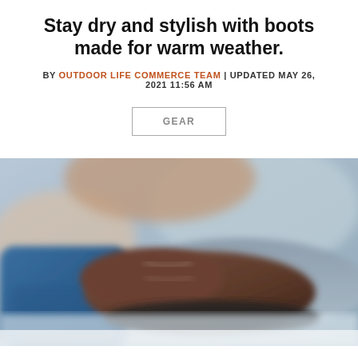Stay dry and stylish with boots made for warm weather.
BY OUTDOOR LIFE COMMERCE TEAM | UPDATED MAY 26, 2021 11:56 AM
GEAR
[Figure (photo): Close-up photo of a person wearing boots and jeans, sitting outdoors on rocks. The boots are brown leather and the person is wearing blue jeans. The background is blurred outdoor scenery.]